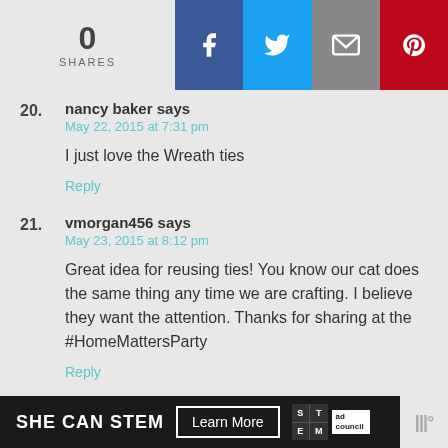[Figure (infographic): Social share bar showing 0 shares with Facebook, Twitter, Email, and Pinterest buttons]
20. nancy baker says
May 22, 2015 at 7:31 pm
I just love the Wreath ties
Reply
21. vmorgan456 says
May 23, 2015 at 8:12 pm
Great idea for reusing ties! You know our cat does the same thing any time we are crafting. I believe they want the attention. Thanks for sharing at the #HomeMattersParty
Reply
[Figure (infographic): SHE CAN STEM ad bar with Learn More button, STEM logo, Ad Council logo]